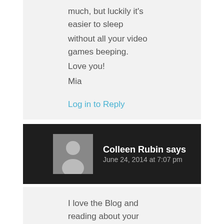much, but luckily it's easier to sleep without all your video games beeping. Love you! Mia
Log in to Reply
Colleen Rubin says
June 24, 2014 at 7:07 pm
I love the Blog and reading about your activities; they sound very productive and educational and the fun sounds really fun!